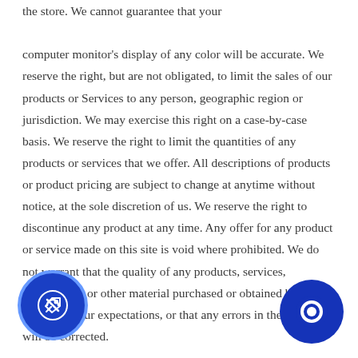the store. We cannot guarantee that your computer monitor's display of any color will be accurate. We reserve the right, but are not obligated, to limit the sales of our products or Services to any person, geographic region or jurisdiction. We may exercise this right on a case-by-case basis. We reserve the right to limit the quantities of any products or services that we offer. All descriptions of products or product pricing are subject to change at anytime without notice, at the sole discretion of us. We reserve the right to discontinue any product at any time. Any offer for any product or service made on this site is void where prohibited. We do not warrant that the quality of any products, services, information, or other material purchased or obtained by you will meet your expectations, or that any errors in the Service will be corrected.